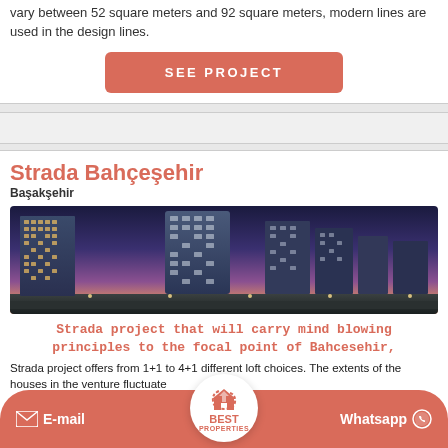vary between 52 square meters and 92 square meters, modern lines are used in the design lines.
SEE PROJECT
Strada Bahçeşehir
Başakşehir
[Figure (photo): Nighttime aerial photo of modern high-rise residential towers in Bahçeşehir with city lights in the background]
Strada project that will carry mind blowing principles to the focal point of Bahcesehir,
E-mail
BEST PROPERTIES
Whatsapp
Strada project offers from 1+1 to 4+1 different loft choices. The extents of the houses in the venture fluctuate